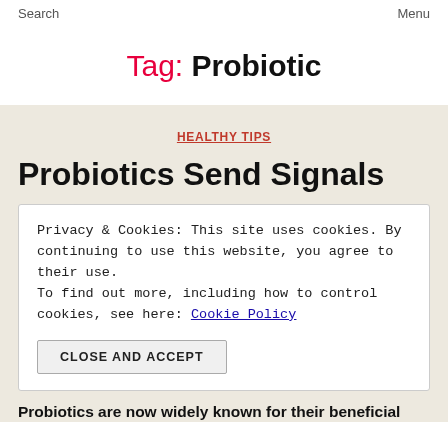Search   Menu
Tag: Probiotic
HEALTHY TIPS
Probiotics Send Signals
Privacy & Cookies: This site uses cookies. By continuing to use this website, you agree to their use. To find out more, including how to control cookies, see here: Cookie Policy
CLOSE AND ACCEPT
Probiotics are now widely known for their beneficial